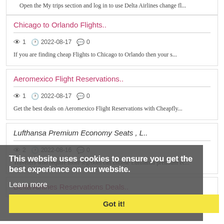Open the My trips section and log in to use Delta Airlines change fl...
Chicago to Orlando Flights..
1  2022-08-17  0
If you are finding cheap Flights to Chicago to Orlando then your s...
Aeromexico Flight Reservations..
1  2022-08-17  0
Get the best deals on Aeromexico Flight Reservations with Cheapfly...
Lufthansa Premium Economy Seats , L..
2  2022-08-16  0
Travelers who require more legroom can choose Lufthansa premium ec...
Delta Airlines Reservations Deals..
This website uses cookies to ensure you get the best experience on our website.
Learn more
Got it!